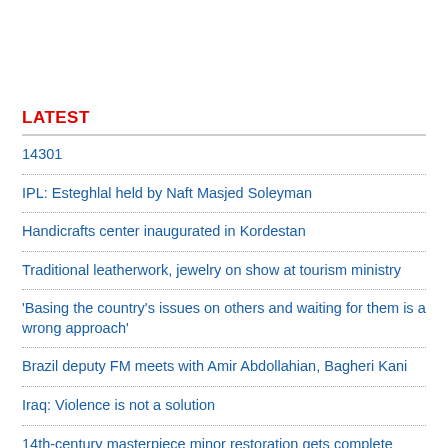LATEST
14301
IPL: Esteghlal held by Naft Masjed Soleyman
Handicrafts center inaugurated in Kordestan
Traditional leatherwork, jewelry on show at tourism ministry
'Basing the country's issues on others and waiting for them is a wrong approach'
Brazil deputy FM meets with Amir Abdollahian, Bagheri Kani
Iraq: Violence is not a solution
14th-century masterpiece minor restoration gets complete